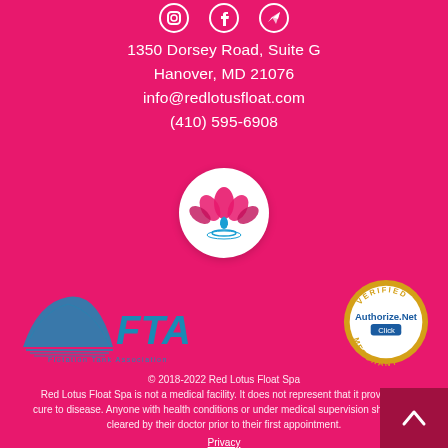[Figure (logo): Social media icons (Instagram, Facebook, share/feather) in circles at top]
1350 Dorsey Road,  Suite G
Hanover, MD  21076
info@redlotusfloat.com
(410) 595-6908
[Figure (logo): Red Lotus Float Spa logo - circular white badge with pink/red lotus flower and water drop]
[Figure (logo): FTA Flotation Tank Association logo with blue mountain/arc design on left, Authorize.Net Verified Merchant badge on right]
© 2018-2022 Red Lotus Float Spa
Red Lotus Float Spa is not a medical facility.  It does not represent that it provides a cure to disease.  Anyone with health conditions or under medical supervision should be cleared by their doctor prior to their first appointment.
Privacy